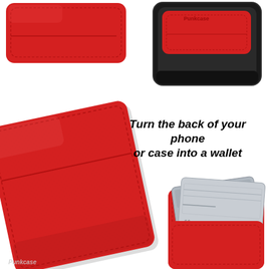[Figure (photo): Product photo collage of a red Punkcase leather wallet/card holder shown in multiple views: top-left shows wallet front with rounded corners, top-right shows wallet attached to back of black smartphone case with Punkcase logo, center-left shows angled front view of the red wallet with card slot, bottom-right shows the red wallet with two metallic credit cards being inserted.]
Turn the back of your phone or case into a wallet